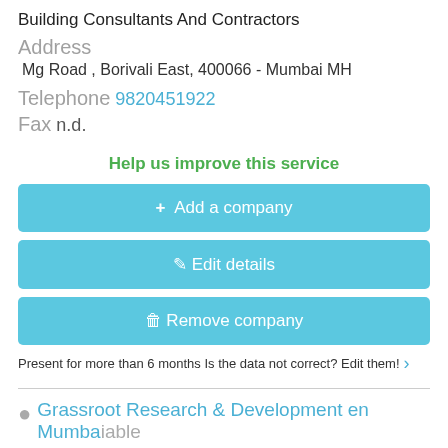Building Consultants And Contractors
Address
Mg Road , Borivali East, 400066 - Mumbai MH
Telephone 9820451922
Fax n.d.
Help us improve this service
+ Add a company
✏ Edit details
🗑 Remove company
Present for more than 6 months Is the data not correct? Edit them! ›
Grassroot Research & Development en Mumbaiable...